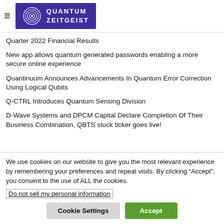Quantum Zeitgeist
Quarter 2022 Financial Results
New app allows quantum generated passwords enabling a more secure online experience
Quantinuum Announces Advancements In Quantum Error Correction Using Logical Qubits
Q-CTRL Introduces Quantum Sensing Division
D-Wave Systems and DPCM Capital Declare Completion Of Their Business Combination, QBTS stock ticker goes live!
We use cookies on our website to give you the most relevant experience by remembering your preferences and repeat visits. By clicking “Accept”, you consent to the use of ALL the cookies.
Do not sell my personal information